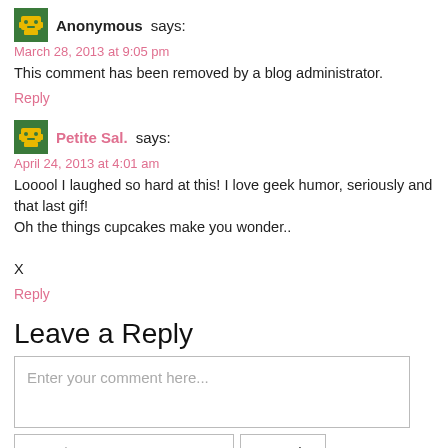Anonymous says:
March 28, 2013 at 9:05 pm
This comment has been removed by a blog administrator.
Reply
Petite Sal. says:
April 24, 2013 at 4:01 am
Looool I laughed so hard at this! I love geek humor, seriously and that last gif!
Oh the things cupcakes make you wonder..

X
Reply
Leave a Reply
Enter your comment here...
Search ...